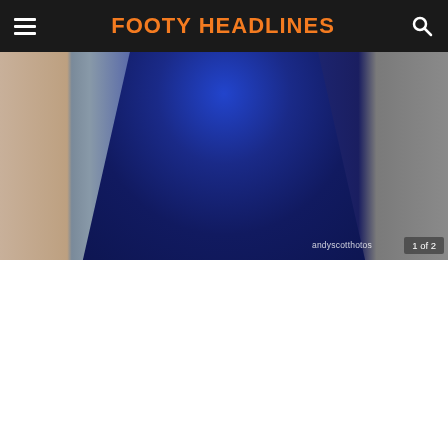FOOTY HEADLINES
[Figure (photo): A person wearing a navy blue football jersey, arms crossed, photographed by andyscotphotos. Image counter shows 1 of 2.]